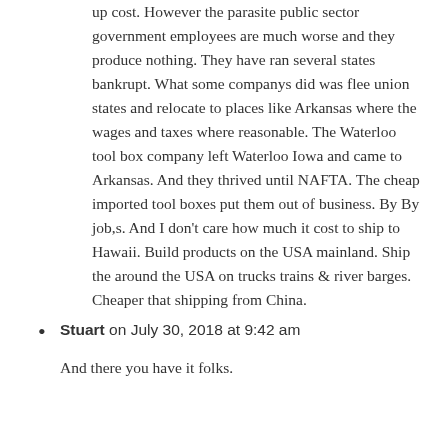up cost. However the parasite public sector government employees are much worse and they produce nothing. They have ran several states bankrupt. What some companys did was flee union states and relocate to places like Arkansas where the wages and taxes where reasonable. The Waterloo tool box company left Waterloo Iowa and came to Arkansas. And they thrived until NAFTA. The cheap imported tool boxes put them out of business. By By job,s. And I don't care how much it cost to ship to Hawaii. Build products on the USA mainland. Ship the around the USA on trucks trains & river barges. Cheaper that shipping from China.
Stuart on July 30, 2018 at 9:42 am
And there you have it folks.